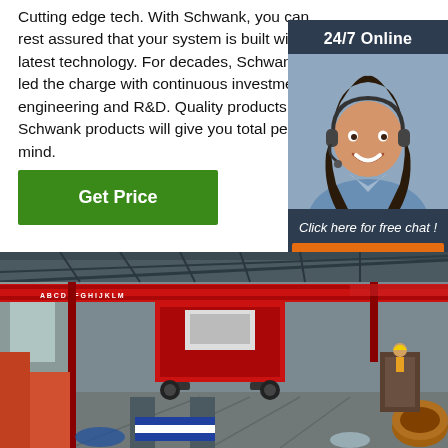Cutting edge tech. With Schwank, you can rest assured that your system is built with the latest technology. For decades, Schwank has led the charge with continuous investment in engineering and R&D. Quality products. Schwank products will give you total peace of mind.
[Figure (other): 24/7 Online chat widget with a smiling female customer service representative wearing a headset, dark background panel with '24/7 Online' label, 'Click here for free chat!' text, and an orange QUOTATION button.]
Get Price
[Figure (photo): Interior of a large industrial factory or warehouse with overhead crane system. The crane structure is painted red and spans across the building. Large red equipment/machinery visible in the center. The facility has a steel roof structure with skylights.]